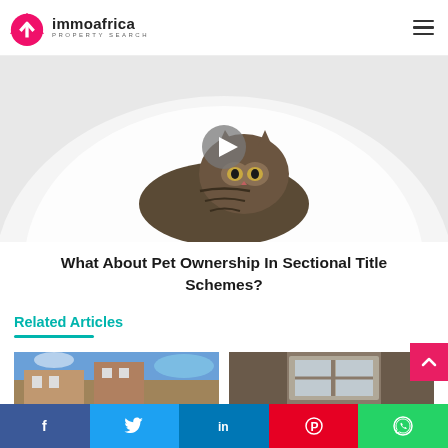immoafrica PROPERTY SEARCH
[Figure (photo): A tabby cat crouching on a white surface, with a video play button overlay. Hero image for article about pet ownership in sectional title schemes.]
What About Pet Ownership In Sectional Title Schemes?
Related Articles
[Figure (photo): Thumbnail of a property with blue sky background]
[Figure (photo): Thumbnail of a building interior with window]
[Figure (infographic): Social media share bar with Facebook, Twitter, LinkedIn, Pinterest, and WhatsApp buttons]